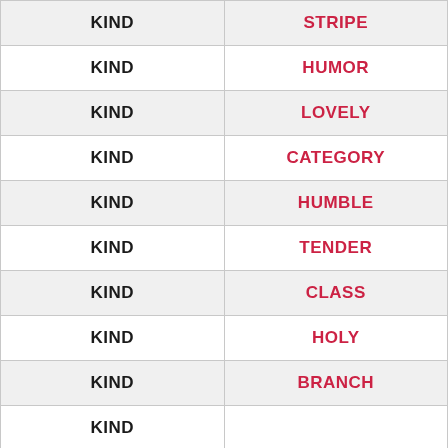| KIND | STRIPE |
| --- | --- |
| KIND | HUMOR |
| KIND | LOVELY |
| KIND | CATEGORY |
| KIND | HUMBLE |
| KIND | TENDER |
| KIND | CLASS |
| KIND | HOLY |
| KIND | BRANCH |
| KIND |  |